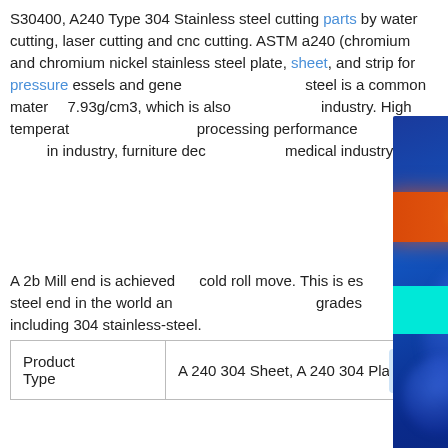S30400, A240 Type 304 Stainless steel cutting parts by water cutting, laser cutting and cnc cutting. ASTM a240 (chromium and chromium nickel stainless steel plate, sheet, and strip for pressure essels and gene... steel is a common mater... 7.93g/cm3, which is also... industry. High temperat... processing performance... in industry, furniture dec... medical industry.
[Figure (infographic): Popup advertisement overlay with dark blue gradient background, glowing orb effects, orange banner reading 'One-stop shop Steel plate', cyan banner reading 'Click here for online chat', magenta 'Contact us' button, and orange 'admin@gangsteel.com' email text. Close button (x) in top right corner.]
A 2b Mill end is achieved... cold roll move. This is es... steel end in the world an... grades including 304 stainless-steel.
| Product Type |  |
| --- | --- |
| Product
Type | A 240 304 Sheet, A 240 304 Plate |